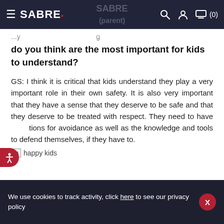SABRE [navigation bar with logo, search, account, cart icons]
do you think are the most important for kids to understand?
GS: I think it is critical that kids understand they play a very important role in their own safety. It is also very important that they have a sense that they deserve to be safe and that they deserve to be treated with respect. They need to have tions for avoidance as well as the knowledge and tools to defend themselves, if they have to.
[Figure (illustration): Broken image placeholder labeled 'happy kids']
We use cookies to track activity, click here to see our privacy policy